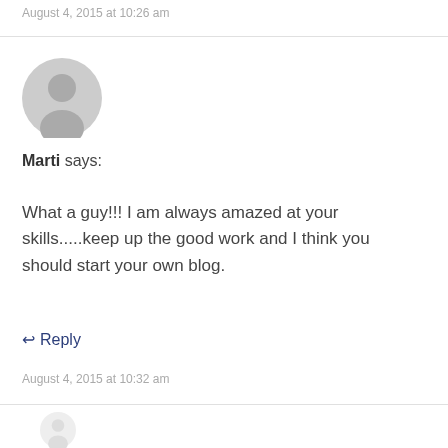August 4, 2015 at 10:26 am
[Figure (illustration): Gray circular user avatar icon (silhouette of a person)]
Marti says:
What a guy!!! I am always amazed at your skills.....keep up the good work and I think you should start your own blog.
↩ Reply
August 4, 2015 at 10:32 am
[Figure (illustration): Light gray circular user avatar icon (partially visible at bottom)]